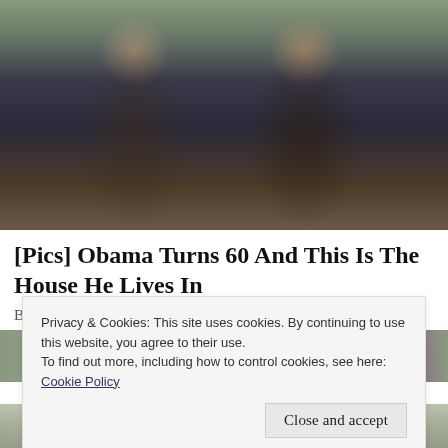[Figure (photo): Photograph of two smiling people posing together outdoors]
[Pics] Obama Turns 60 And This Is The House He Lives In
BuzzAura
[Figure (photo): Partial photo of a house exterior visible behind cookie consent banner]
Privacy & Cookies: This site uses cookies. By continuing to use this website, you agree to their use.
To find out more, including how to control cookies, see here:
Cookie Policy
Close and accept
[Figure (photo): Partial photo of a house exterior at the bottom of the page]